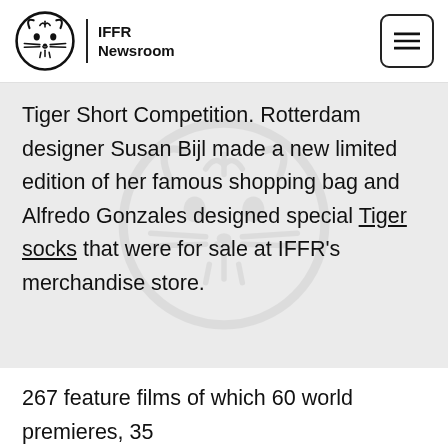IFFR Newsroom
Tiger Short Competition. Rotterdam designer Susan Bijl made a new limited edition of her famous shopping bag and Alfredo Gonzales designed special Tiger socks that were for sale at IFFR's merchandise store.
267 feature films of which 60 world premieres, 35